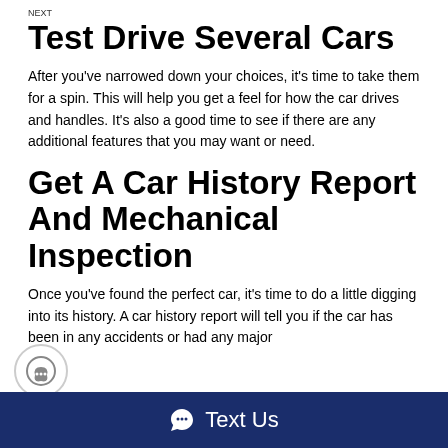NEXT
Test Drive Several Cars
After you've narrowed down your choices, it's time to take them for a spin. This will help you get a feel for how the car drives and handles. It's also a good time to see if there are any additional features that you may want or need.
Get A Car History Report And Mechanical Inspection
Once you've found the perfect car, it's time to do a little digging into its history. A car history report will tell you if the car has been in any accidents or had any major
Text Us